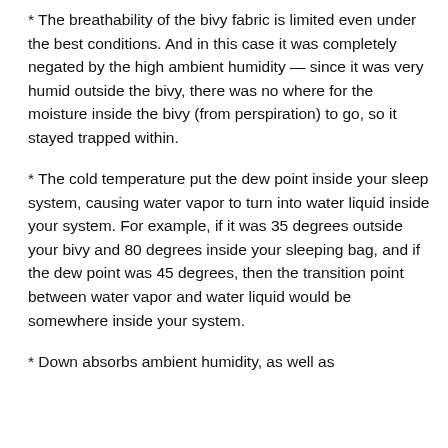* The breathability of the bivy fabric is limited even under the best conditions. And in this case it was completely negated by the high ambient humidity — since it was very humid outside the bivy, there was no where for the moisture inside the bivy (from perspiration) to go, so it stayed trapped within.
* The cold temperature put the dew point inside your sleep system, causing water vapor to turn into water liquid inside your system. For example, if it was 35 degrees outside your bivy and 80 degrees inside your sleeping bag, and if the dew point was 45 degrees, then the transition point between water vapor and water liquid would be somewhere inside your system.
* Down absorbs ambient humidity, as well as